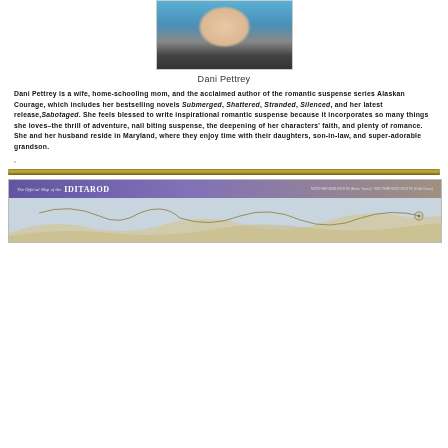[Figure (photo): Headshot portrait of Dani Pettrey, showing face and upper body with blue background and beaded necklace]
Dani Pettrey
Dani Pettrey is a wife, home-schooling mom, and the acclaimed author of the romantic suspense series Alaskan Courage, which includes her bestselling novels Submerged, Shattered, Stranded, Silenced, and her latest release,Sabotaged. She feels blessed to write inspirational romantic suspense because it incorporates so many things she loves–the thrill of adventure, nail biting suspense, the deepening of her characters' faith, and plenty of romance. She and her husband reside in Maryland, where they enjoy time with their daughters, son-in-law, and super-adorable grandson.
,
[Figure (map): The Official Map of the IDITAROD — a partial view of the Iditarod trail map showing Alaska terrain with route markings]